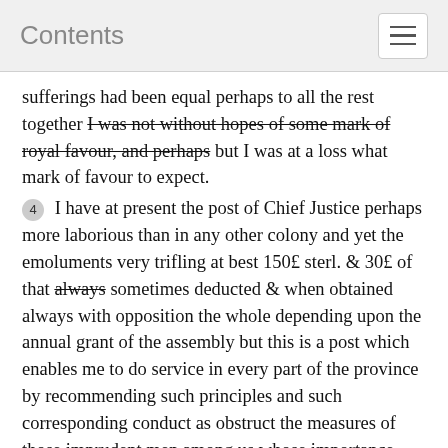Contents
sufferings had been equal perhaps to all the rest together I was not without hopes of some mark of royal favour, and perhaps but I was at a loss what mark of favour to expect.
4  I have at present the post of Chief Justice perhaps more laborious than in any other colony and yet the emoluments very trifling at best 150£ sterl. & 30£ of that always sometimes deducted & when obtained always with opposition the whole depending upon the annual grant of the assembly but this is a post which enables me to do service in every part of the province by recommending such principles and such corresponding conduct as obstruct the measures of those imprudent men among us whose importance wholly depends upon